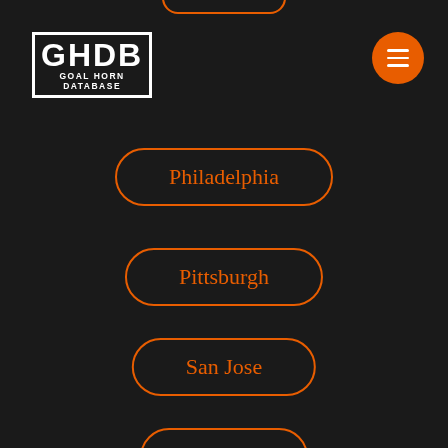[Figure (logo): GHDB Goal Horn Database logo with white border, white text on dark background]
Philadelphia
Pittsburgh
San Jose
Seattle
St. Louis